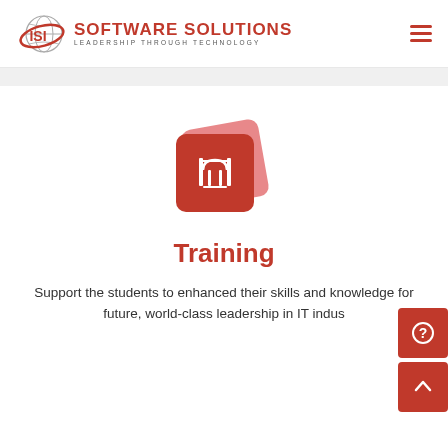[Figure (logo): ISI Software Solutions logo with globe graphic and tagline 'Leadership Through Technology']
[Figure (illustration): Training icon: two overlapping red rounded squares with an arch/gate symbol in white]
Training
Support the students to enhanced their skills and knowledge for future, world-class leadership in IT indus